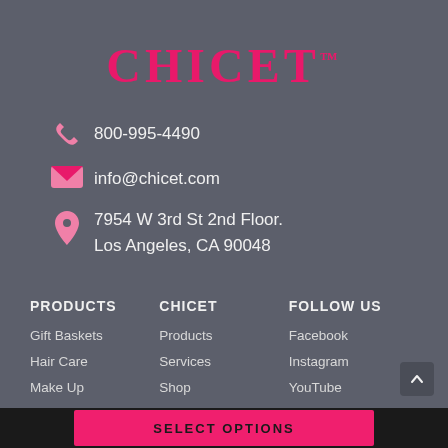CHICET™
800-995-4490
info@chicet.com
7954 W 3rd St 2nd Floor.
Los Angeles, CA 90048
PRODUCTS
CHICET
FOLLOW US
Gift Baskets
Hair Care
Make Up
Products
Services
Shop
Facebook
Instagram
YouTube
SELECT OPTIONS